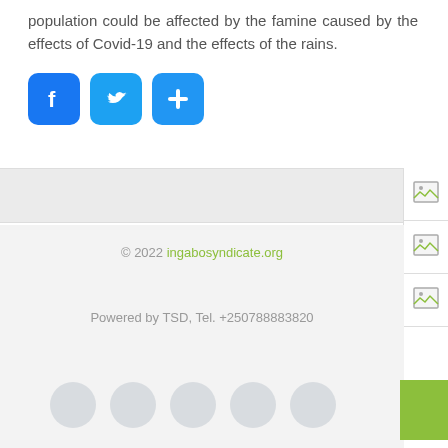population could be affected by the famine caused by the effects of Covid-19 and the effects of the rains.
[Figure (infographic): Three social sharing buttons: Facebook (blue rounded square with white 'f'), Twitter (blue rounded square with white bird), and a blue rounded square with white plus sign.]
[Figure (infographic): Sidebar with three broken image icons stacked vertically on the right side.]
© 2022 ingabosyndicate.org
Powered by TSD, Tel. +250788883820
[Figure (infographic): Five light gray circles in a row representing pagination dots, and a green rectangle button on the far right.]